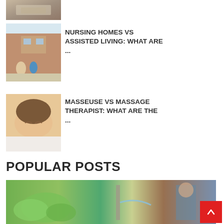[Figure (photo): Partial view of a person holding a clipboard or tablet, cropped at top]
[Figure (photo): Nurse or caregiver sitting with elderly person outside a brick building]
NURSING HOMES VS ASSISTED LIVING: WHAT ARE ...
[Figure (photo): Woman receiving a massage, lying down with eyes closed]
MASSEUSE VS MASSAGE THERAPIST: WHAT ARE THE ...
POPULAR POSTS
[Figure (photo): Wide photo showing lettuce/greens on left and a person with water/gardening on right]